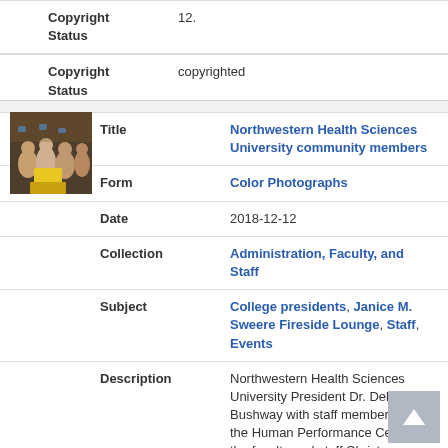| Field | Value |
| --- | --- |
| Copyright Status | copyrighted |
[Figure (photo): Small thumbnail photo of group of people at a party/event, wearing blue party hats, at Northwestern Health Sciences University]
| Field | Value |
| --- | --- |
| Title | Northwestern Health Sciences University community members |
| Form | Color Photographs |
| Date | 2018-12-12 |
| Collection | Administration, Faculty, and Staff |
| Subject | College presidents, Janice M. Sweere Fireside Lounge, Staff, Events |
| Description | Northwestern Health Sciences University President Dr. Deb Bushway with staff members from the Human Performance Center at the faculty and staff Christmas party in the Janice M. Sweere Fireside Lounge, 2018-12-12. |
| Copyright Status | copyrighted |